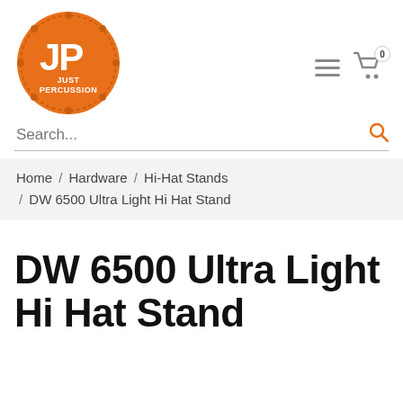[Figure (logo): Just Percussion logo — orange circle with drum-like border, white JP letters and 'JUST PERCUSSION' text inside]
Menu / Cart (0)
Search...
Home / Hardware / Hi-Hat Stands / DW 6500 Ultra Light Hi Hat Stand
DW 6500 Ultra Light Hi Hat Stand